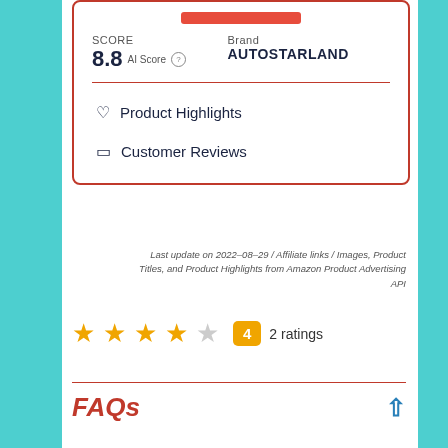SCORE 8.8 AI Score
Brand AUTOSTARLAND
Product Highlights
Customer Reviews
Last update on 2022-08-29 / Affiliate links / Images, Product Titles, and Product Highlights from Amazon Product Advertising API
4  2 ratings
FAQs